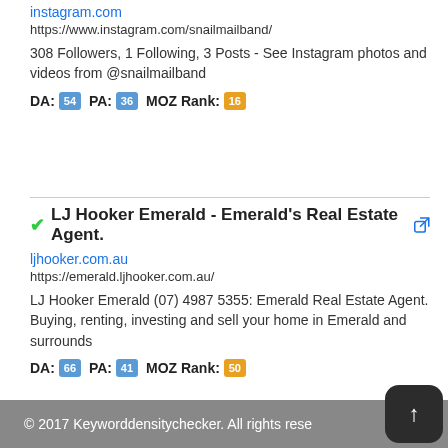instagram.com
https://www.instagram.com/snailmailband/
308 Followers, 1 Following, 3 Posts - See Instagram photos and videos from @snailmailband
DA: 54 PA: 36 MOZ Rank: 16
LJ Hooker Emerald - Emerald's Real Estate Agent.
ljhooker.com.au
https://emerald.ljhooker.com.au/
LJ Hooker Emerald (07) 4987 5355: Emerald Real Estate Agent. Buying, renting, investing and sell your home in Emerald and surrounds
DA: 66 PA: 41 MOZ Rank: 50
© 2017 Keyworddensitychecker. All rights rese